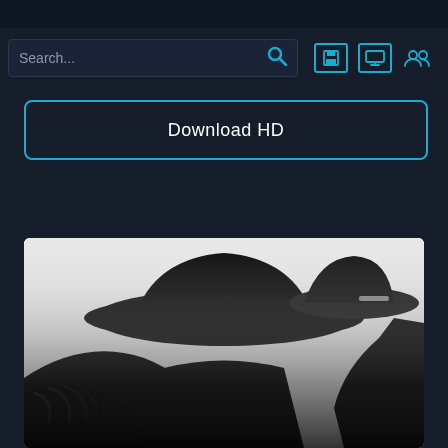Navigation top bar
[Figure (screenshot): Search bar with magnifying glass icon and three utility icons (save, screen, users) in cyan/teal color]
Download HD
[Figure (photo): Black and white photo of two silhouetted figures wearing hats, high contrast image with white background and dark figures]